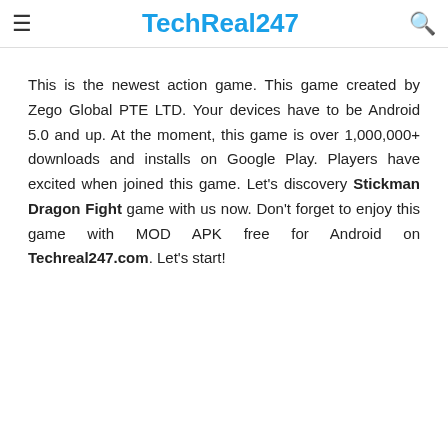TechReal247
This is the newest action game. This game created by Zego Global PTE LTD. Your devices have to be Android 5.0 and up. At the moment, this game is over 1,000,000+ downloads and installs on Google Play. Players have excited when joined this game. Let's discovery Stickman Dragon Fight game with us now. Don't forget to enjoy this game with MOD APK free for Android on Techreal247.com. Let's start!